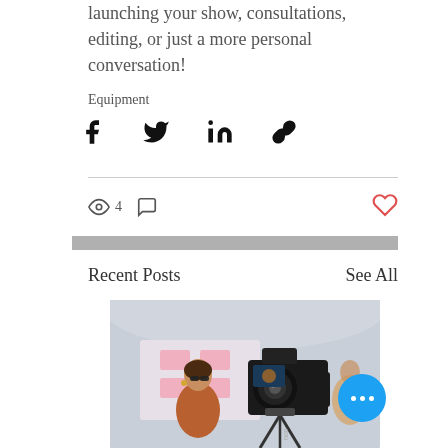launching your show, consultations, editing, or just a more personal conversation!
Equipment
[Figure (infographic): Social share icons: Facebook, Twitter, LinkedIn, and link/chain icon]
[Figure (infographic): Stats row: eye icon with count 4, comment bubble icon, and heart (like) icon on the right]
Recent Posts
See All
[Figure (photo): Photo of a woman with sunglasses being filmed by a DSLR camera on a tripod at an outdoor event]